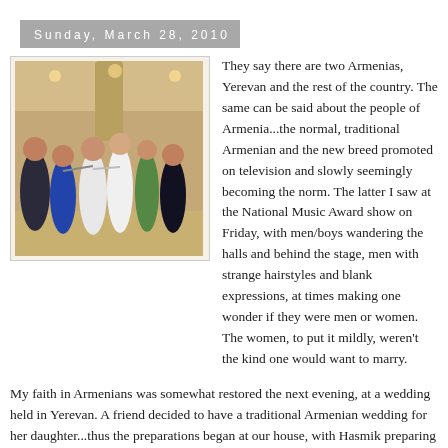Sunday, March 28, 2010
[Figure (photo): People dancing at a wedding celebration in a banquet hall, group of men and women in festive attire]
They say there are two Armenias, Yerevan and the rest of the country. The same can be said about the people of Armenia...the normal, traditional Armenian and the new breed promoted on television and slowly seemingly becoming the norm. The latter I saw at the National Music Award show on Friday, with men/boys wandering the halls and behind the stage, men with strange hairstyles and blank expressions, at times making one wonder if they were men or women. The women, to put it mildly, weren't the kind one would want to marry.
My faith in Armenians was somewhat restored the next evening, at a wedding held in Yerevan. A friend decided to have a traditional Armenian wedding for her daughter...thus the preparations began at our house, with Hasmik preparing